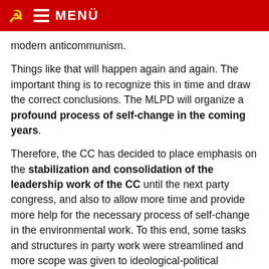MENÜ
modern anticommunism.
Things like that will happen again and again. The important thing is to recognize this in time and draw the correct conclusions. The MLPD will organize a profound process of self-change in the coming years.
Therefore, the CC has decided to place emphasis on the stabilization and consolidation of the leadership work of the CC until the next party congress, and also to allow more time and provide more help for the necessary process of self-change in the environmental work. To this end, some tasks and structures in party work were streamlined and more scope was given to ideological-political training. Above all we have to